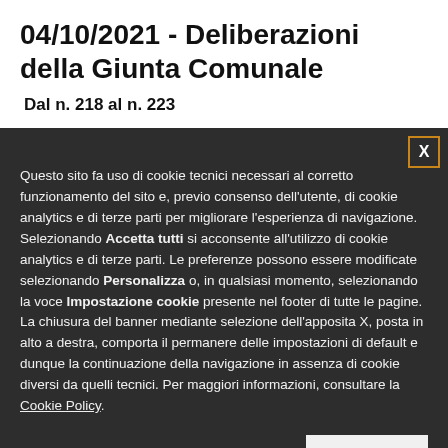04/10/2021 - Deliberazioni della Giunta Comunale
Dal n. 218 al n. 223
Questo sito fa uso di cookie tecnici necessari al corretto funzionamento del sito e, previo consenso dell'utente, di cookie analytics e di terze parti per migliorare l'esperienza di navigazione. Selezionando Accetta tutti si acconsente all'utilizzo di cookie analytics e di terze parti. Le preferenze possono essere modificate selezionando Personalizza o, in qualsiasi momento, selezionando la voce Impostazione cookie presente nel footer di tutte le pagine. La chiusura del banner mediante selezione dell'apposita X, posta in alto a destra, comporta il permanere delle impostazioni di default e dunque la continuazione della navigazione in assenza di cookie diversi da quelli tecnici. Per maggiori informazioni, consultare la Cookie Policy.